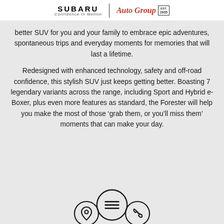SUBARU | Auto Group | EST. 1935 | Confidence in Motion
better SUV for you and your family to embrace epic adventures, spontaneous trips and everyday moments for memories that will last a lifetime.
Redesigned with enhanced technology, safety and off-road confidence, this stylish SUV just keeps getting better. Boasting 7 legendary variants across the range, including Sport and Hybrid e-Boxer, plus even more features as standard, the Forester will help you make the most of those ‘grab them, or you’ll miss them’ moments that can make your day.
[Figure (infographic): Three navigation icons: a location pin icon (left, small circle), a hamburger menu icon (center, large circle), and a phone icon (right, small circle)]